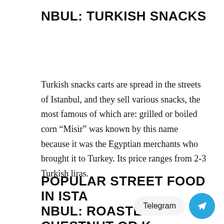NBUL: TURKISH SNACKS
Turkish snacks carts are spread in the streets of Istanbul, and they sell various snacks, the most famous of which are: grilled or boiled corn “Misir” was known by this name because it was the Egyptian merchants who brought it to Turkey. Its price ranges from 2-3 Turkish liras.
POPULAR STREET FOOD IN ISTANBUL: ROASTED CHESTNUT OR KESTANE